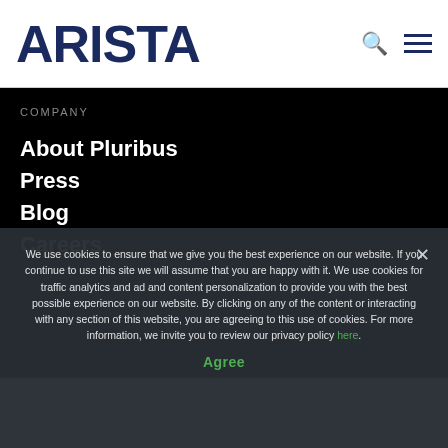[Figure (logo): Arista Networks logo in dark navy blue with large bold sans-serif letters]
COMPANY
About Pluribus
Press
Blog
Careers
We use cookies to ensure that we give you the best experience on our website. If you continue to use this site we will assume that you are happy with it. We use cookies for traffic analytics and ad and content personalization to provide you with the best possible experience on our website. By clicking on any of the content or interacting with any section of this website, you are agreeing to this use of cookies. For more information, we invite you to review our privacy policy here.
Agree